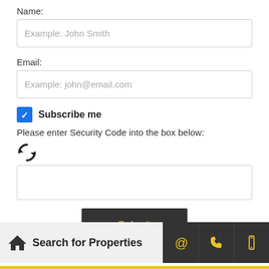Name:
Example: John Smith
Email:
Example: john@email.com
Subscribe me
Please enter Security Code into the box below:
[Figure (other): Refresh/reload icon (circular arrows)]
Submit
Search for Properties